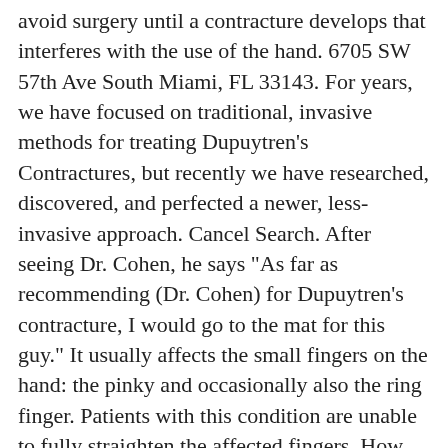avoid surgery until a contracture develops that interferes with the use of the hand. 6705 SW 57th Ave South Miami, FL 33143. For years, we have focused on traditional, invasive methods for treating Dupuytren's Contractures, but recently we have researched, discovered, and perfected a newer, less-invasive approach. Cancel Search. After seeing Dr. Cohen, he says "As far as recommending (Dr. Cohen) for Dupuytren's contracture, I would go to the mat for this guy." It usually affects the small fingers on the hand: the pinky and occasionally also the ring finger. Patients with this condition are unable to fully straighten the affected fingers. How many people have you helped? Dupuytren's Disease is a benign condition of the hand, which results in tumorous thickening of palmar tissues leading to flexion contractures that limit finger motion. This website is dedicated to Needle Aponeurotomy, a breakthrough and exciting alternative treatment for Dupuytren's Contracture, often referred to as Dupuytren's Disease. Ultimately, patients with this condition have difficulty moving their fingers. Contact Michigan